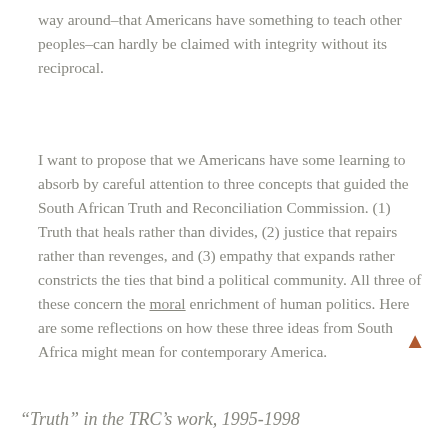way around–that Americans have something to teach other peoples–can hardly be claimed with integrity without its reciprocal.
I want to propose that we Americans have some learning to absorb by careful attention to three concepts that guided the South African Truth and Reconciliation Commission. (1) Truth that heals rather than divides, (2) justice that repairs rather than revenges, and (3) empathy that expands rather constricts the ties that bind a political community. All three of these concern the moral enrichment of human politics. Here are some reflections on how these three ideas from South Africa might mean for contemporary America.
“Truth” in the TRC’s work, 1995-1998